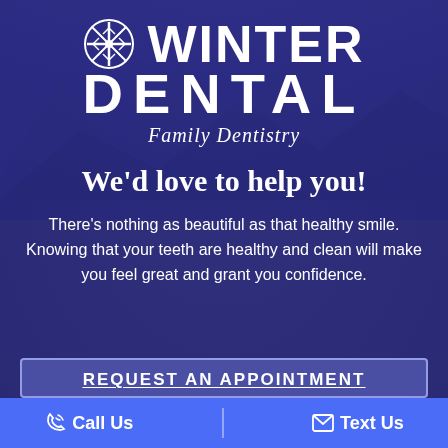[Figure (illustration): Background photo of a town/landscape overlaid with a dark purple-blue color overlay]
❄ WINTER DENTAL Family Dentistry
We'd love to help you!
There's nothing as beautiful as that healthy smile. Knowing that your teeth are healthy and clean will make you feel great and grant you confidence.
REQUEST AN APPOINTMENT
Call Us   Text Us